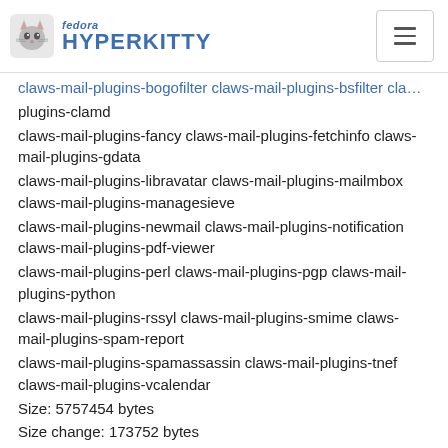fedora HYPERKITTY
plugins-clamd
claws-mail-plugins-fancy claws-mail-plugins-fetchinfo claws-mail-plugins-gdata
claws-mail-plugins-libravatar claws-mail-plugins-mailmbox claws-mail-plugins-managesieve
claws-mail-plugins-newmail claws-mail-plugins-notification claws-mail-plugins-pdf-viewer
claws-mail-plugins-perl claws-mail-plugins-pgp claws-mail-plugins-python
claws-mail-plugins-rssyl claws-mail-plugins-smime claws-mail-plugins-spam-report
claws-mail-plugins-spamassassin claws-mail-plugins-tnef claws-mail-plugins-vcalendar
Size: 5757454 bytes
Size change: 173752 bytes
Changelog:
* Sun Aug 07 2016 Andreas Bierfert
<andreas.bierfert(a)lowlatency.de&gt;
- 3.14.0-1